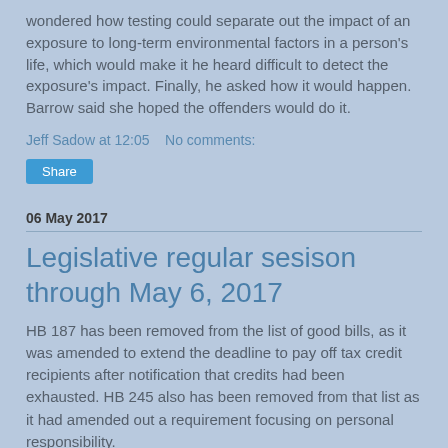wondered how testing could separate out the impact of an exposure to long-term environmental factors in a person's life, which would make it he heard difficult to detect the exposure's impact. Finally, he asked how it would happen. Barrow said she hoped the offenders would do it.
Jeff Sadow at 12:05    No comments:
Share
06 May 2017
Legislative regular sesison through May 6, 2017
HB 187 has been removed from the list of good bills, as it was amended to extend the deadline to pay off tax credit recipients after notification that credits had been exhausted. HB 245 also has been removed from that list as it had amended out a requirement focusing on personal responsibility.